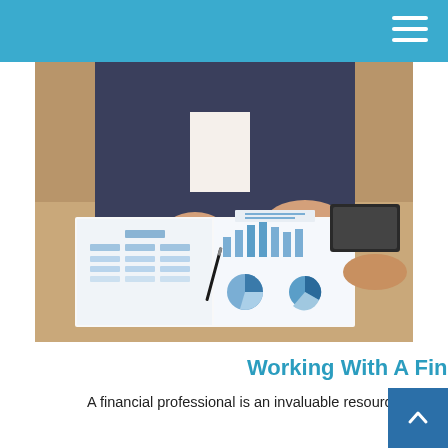[Figure (photo): A financial professional in a dark suit leaning over a desk reviewing financial reports and charts with another person. The open document shows bar charts, pie charts, and a flowchart/org-chart. A pen is held over the charts.]
Working With A Financial Professional
A financial professional is an invaluable resource to help untangle the complexities of whatever life throws at you.